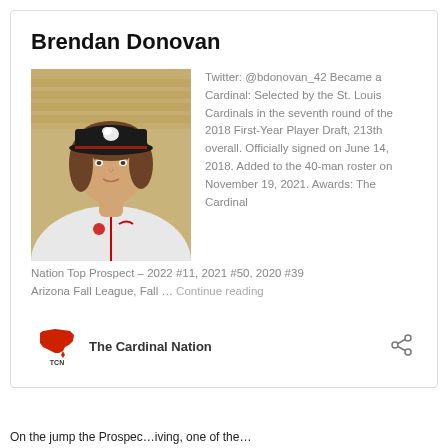Brendan Donovan
[Figure (photo): Photo of Brendan Donovan wearing a Cardinals baseball cap and white Cardinals jersey, with stadium seats visible in the background.]
Twitter: @bdonovan_42 Became a Cardinal: Selected by the St. Louis Cardinals in the seventh round of the 2018 First-Year Player Draft, 213th overall. Officially signed on June 14, 2018. Added to the 40-man roster on November 19, 2021. Awards: The Cardinal Nation Top Prospect – 2022 #11, 2021 #50, 2020 #39 Arizona Fall League, Fall … Continue reading
[Figure (logo): The Cardinal Nation (TCN) logo — red map of USA with TCN text below]
The Cardinal Nation
On the jump, the Prospec…iving, one of the…